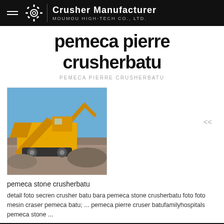Crusher Manufacturer | MOUMOU HIGH-TECH CO., LTD.
pemeca pierre crusherbatu
PEMECA PIERRE CRUSHERBATU
[Figure (photo): Yellow heavy crusher machine with excavator arm on a gravel site against a blue sky]
pemeca stone crusherbatu
detail foto secren crusher batu bara pemeca stone crusherbatu foto foto mesin craser pemeca batu; ... pemeca pierre cruser batufamilyhospitals pemeca stone ...
Accueil | Produits | Contact | Copyright © 2002-2021